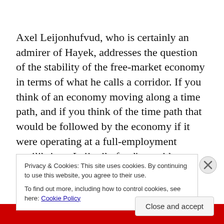Axel Leijonhufvud, who is certainly an admirer of Hayek, addresses the question of the stability of the free-market economy in terms of what he calls a corridor. If you think of an economy moving along a time path, and if you think of the time path that would be followed by the economy if it were operating at a full-employment equilibrium, Leijonjhufvud's corridor hypothesis is that the actual time path of the economy tends to revert to the equilibrium time path as long as deviations from the equilibrium are kept
Privacy & Cookies: This site uses cookies. By continuing to use this website, you agree to their use.
To find out more, including how to control cookies, see here: Cookie Policy